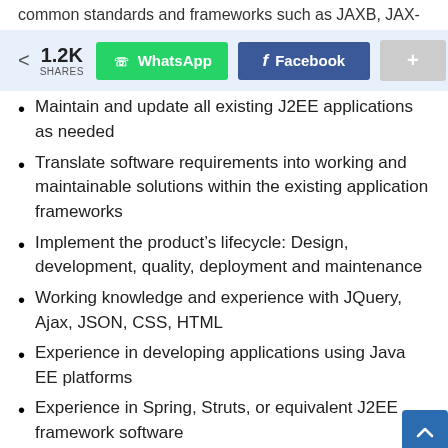common standards and frameworks such as JAXB, JAX-
[Figure (infographic): Social share bar showing 1.2K shares with WhatsApp and Facebook share buttons and a plus button]
Maintain and update all existing J2EE applications as needed
Translate software requirements into working and maintainable solutions within the existing application frameworks
Implement the product’s lifecycle: Design, development, quality, deployment and maintenance
Working knowledge and experience with JQuery, Ajax, JSON, CSS, HTML
Experience in developing applications using Java EE platforms
Experience in Spring, Struts, or equivalent J2EE framework software